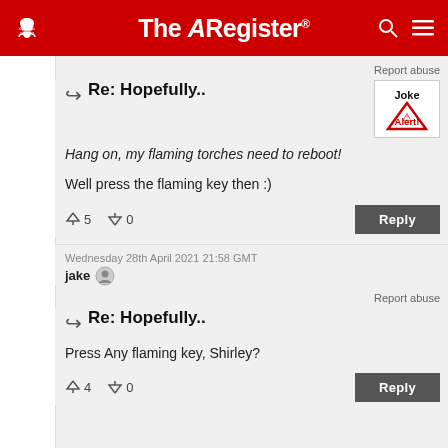The Register
Report abuse
Re: Hopefully..
Hang on, my flaming torches need to reboot!
Well press the flaming key then :)
↑5  ↓0  Reply
Wednesday 28th April 2021 21:58 GMT
jake
Report abuse
Re: Hopefully..
Press Any flaming key, Shirley?
↑4  ↓0  Reply